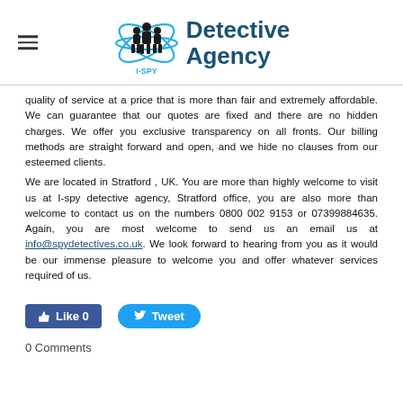[Figure (logo): I-SPY Detective Agency logo with three silhouetted figures inside a blue orbital/atom graphic, beside bold text reading 'Detective Agency']
quality of service at a price that is more than fair and extremely affordable. We can guarantee that our quotes are fixed and there are no hidden charges. We offer you exclusive transparency on all fronts. Our billing methods are straight forward and open, and we hide no clauses from our esteemed clients.
We are located in Stratford , UK. You are more than highly welcome to visit us at I-spy detective agency, Stratford office, you are also more than welcome to contact us on the numbers 0800 002 9153 or 07399884635. Again, you are most welcome to send us an email us at info@spydetectives.co.uk. We look forward to hearing from you as it would be our immense pleasure to welcome you and offer whatever services required of us.
[Figure (screenshot): Facebook Like button showing 'Like 0' and Twitter Tweet button]
0 Comments